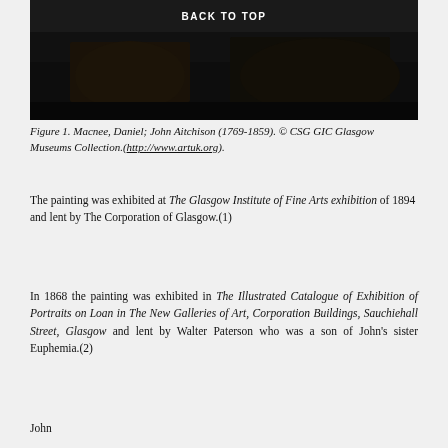BACK TO TOP
[Figure (photo): Dark painting showing a portrait, bottom portion visible with dark tones]
Figure 1. Macnee, Daniel; John Aitchison (1769-1859). © CSG GIC Glasgow Museums Collection.(http://www.artuk.org).
The painting was exhibited at The Glasgow Institute of Fine Arts exhibition of 1894 and lent by The Corporation of Glasgow.(1)
In 1868 the painting was exhibited in The Illustrated Catalogue of Exhibition of Portraits on Loan in The New Galleries of Art, Corporation Buildings, Sauchiehall Street, Glasgow and lent by Walter Paterson who was a son of John's sister Euphemia.(2)
John...